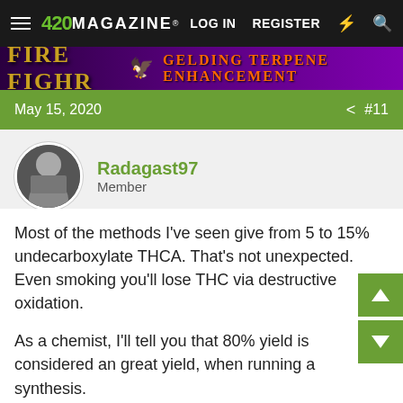420 MAGAZINE® | LOG IN | REGISTER
[Figure (screenshot): Purple banner with decorative cannabis-themed text and orange text reading 'GELDING TERPENE ENHANCEMENT']
May 15, 2020   #11
Radagast97
Member
Most of the methods I've seen give from 5 to 15% undecarboxylate THCA. That's not unexpected. Even smoking you'll lose THC via destructive oxidation.
As a chemist, I'll tell you that 80% yield is considered an great yield, when running a synthesis.
I have friends who are bi-poly-pagans, and others that don't know what it means.